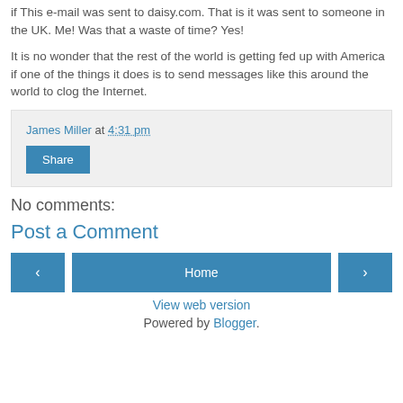if This e-mail was sent to daisy.com. That is it was sent to someone in the UK. Me! Was that a waste of time? Yes!
It is no wonder that the rest of the world is getting fed up with America if one of the things it does is to send messages like this around the world to clog the Internet.
James Miller at 4:31 pm
Share
No comments:
Post a Comment
‹
Home
›
View web version
Powered by Blogger.